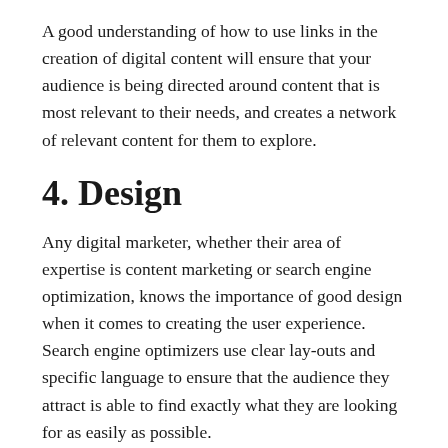A good understanding of how to use links in the creation of digital content will ensure that your audience is being directed around content that is most relevant to their needs, and creates a network of relevant content for them to explore.
4. Design
Any digital marketer, whether their area of expertise is content marketing or search engine optimization, knows the importance of good design when it comes to creating the user experience. Search engine optimizers use clear lay-outs and specific language to ensure that the audience they attract is able to find exactly what they are looking for as easily as possible.
Content marketers, on the other hand, employ a wide